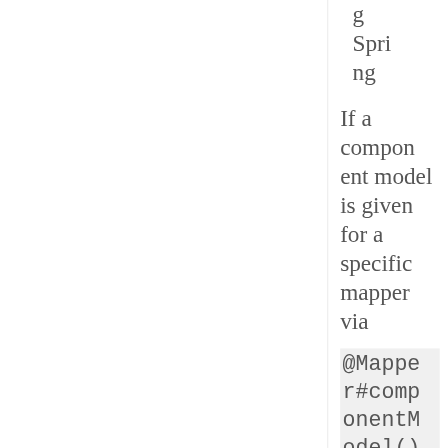Spring
If a component model is given for a specific mapper via
@Mapper#componentModel()